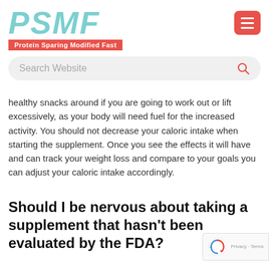[Figure (logo): PSMF logo with italic teal lettering and red subtitle bar reading 'Protein Sparing Modified Fast']
[Figure (other): Red hamburger menu button with three white horizontal lines]
[Figure (other): Search bar with placeholder text 'Search Website' and red search icon]
healthy snacks around if you are going to work out or lift excessively, as your body will need fuel for the increased activity. You should not decrease your caloric intake when starting the supplement. Once you see the effects it will have and can track your weight loss and compare to your goals you can adjust your caloric intake accordingly.
Should I be nervous about taking a supplement that hasn't been evaluated by the FDA?
Most supplements on the market today have not been evaluated by the FDA. FDA evaluation takes long periods of